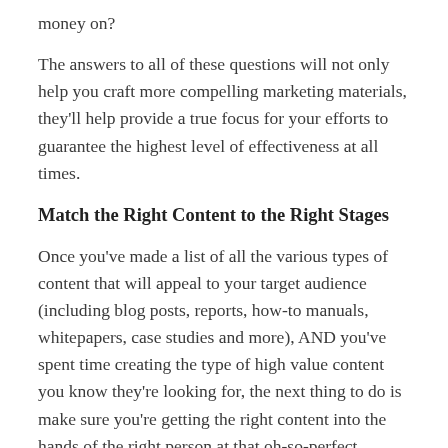money on?
The answers to all of these questions will not only help you craft more compelling marketing materials, they'll help provide a true focus for your efforts to guarantee the highest level of effectiveness at all times.
Match the Right Content to the Right Stages
Once you've made a list of all the various types of content that will appeal to your target audience (including blog posts, reports, how-to manuals, whitepapers, case studies and more), AND you've spent time creating the type of high value content you know they're looking for, the next thing to do is make sure you're getting the right content into the hands of the right person at that oh-so-perfect